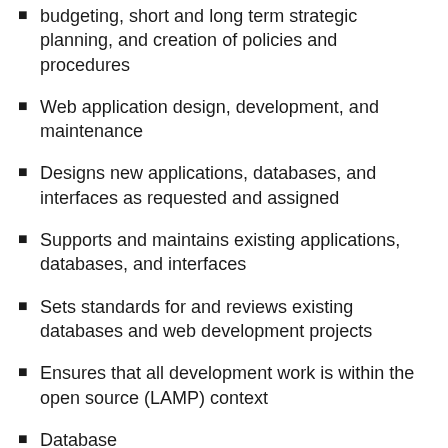budgeting, short and long term strategic planning, and creation of policies and procedures
Web application design, development, and maintenance
Designs new applications, databases, and interfaces as requested and assigned
Supports and maintains existing applications, databases, and interfaces
Sets standards for and reviews existing databases and web development projects
Ensures that all development work is within the open source (LAMP) context
Database development/administration/troubleshooting
Designs database models and implement them.